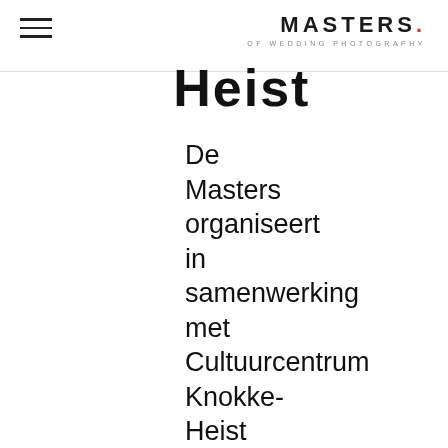MASTERS. OF WEDDING PHOTOGRAPHY
Heist
De Masters organiseert in samenwerking met Cultuurcentrum Knokke-Heist en ELAND Feestenbouw een expositie